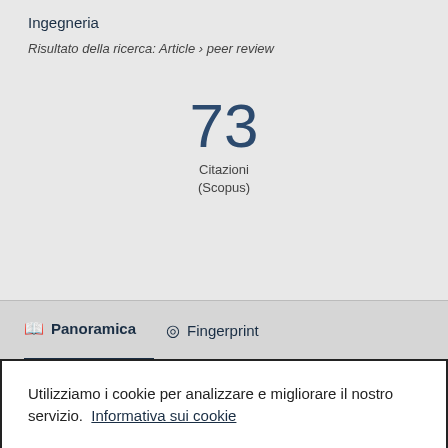Ingegneria
Risultato della ricerca: Article › peer review
73 Citazioni (Scopus)
Panoramica   Fingerprint
Utilizziamo i cookie per analizzare e migliorare il nostro servizio.  Informativa sui cookie
Impostazioni cookie